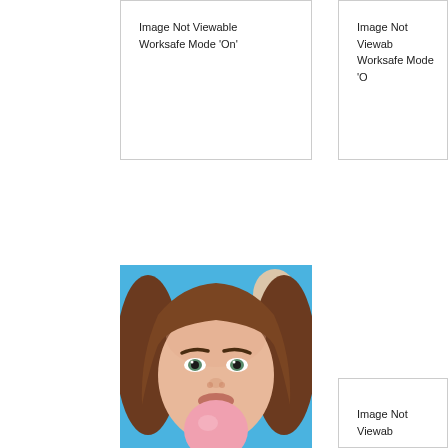[Figure (other): Box with text: Image Not Viewable Worksafe Mode 'On']
[Figure (other): Box with text: Image Not Viewable Worksafe Mode 'O...' (truncated, right side cut off)]
[Figure (photo): Photo of a young woman with long brown hair blowing a pink bubble gum bubble, blue background with colorful balloons]
[Figure (other): Partial box with text: Image Not Viewable (truncated, bottom right)]